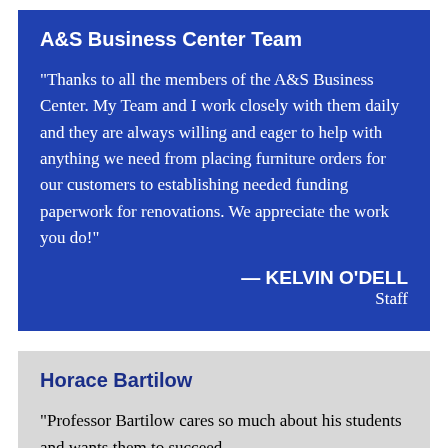A&S Business Center Team
“Thanks to all the members of the A&S Business Center. My Team and I work closely with them daily and they are always willing and eager to help with anything we need from placing furniture orders for our customers to establishing needed funding paperwork for renovations. We appreciate the work you do!”
— KELVIN O'DELL
Staff
Horace Bartilow
“Professor Bartilow cares so much about his students and wants them to succeed…